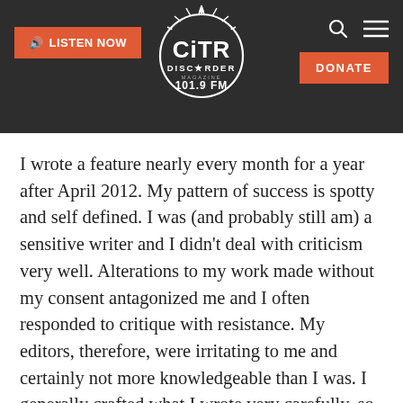[Figure (logo): CiTR Discorder 101.9 FM radio station logo — circular badge with stylized text and sunburst rays on dark background]
I wrote a feature nearly every month for a year after April 2012. My pattern of success is spotty and self defined. I was (and probably still am) a sensitive writer and I didn't deal with criticism very well. Alterations to my work made without my consent antagonized me and I often responded to critique with resistance. My editors, therefore, were irritating to me and certainly not more knowledgeable than I was. I generally crafted what I wrote very carefully, so suggesting it was imperfect was a direct offense.